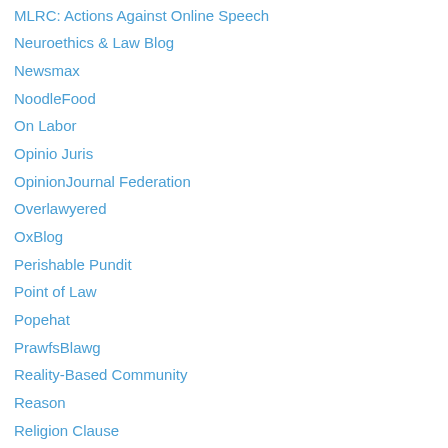MLRC: Actions Against Online Speech
Neuroethics & Law Blog
Newsmax
NoodleFood
On Labor
Opinio Juris
OpinionJournal Federation
Overlawyered
OxBlog
Perishable Pundit
Point of Law
Popehat
PrawfsBlawg
Reality-Based Community
Reason
Religion Clause
Ricochet
Right Coast
Room for Debate
Rosenbergs
SCOTUSreport